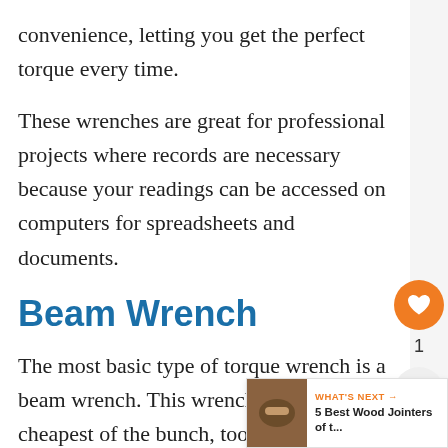convenience, letting you get the perfect torque every time.
These wrenches are great for professional projects where records are necessary because your readings can be accessed on computers for spreadsheets and documents.
Beam Wrench
The most basic type of torque wrench is a beam wrench. This wrench is usually the cheapest of the bunch, too, given its simple design. Beam wrenches work using a lever arm. The lever arm offers elastici… that allows the wrench to bend just slightly when you've reached the point of